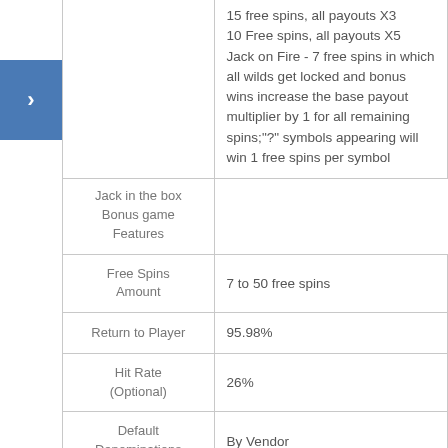| Feature | Details |
| --- | --- |
| Jack in the box Bonus game Features | 15 free spins, all payouts X3
10 Free spins, all payouts X5
Jack on Fire - 7 free spins in which all wilds get locked and bonus wins increase the base payout multiplier by 1 for all remaining spins;"?" symbols appearing will win 1 free spins per symbol |
| Free Spins Amount | 7 to 50 free spins |
| Return to Player | 95.98% |
| Hit Rate (Optional) | 26% |
| Default Denominations | By Vendor |
| Full Screen | Yes |